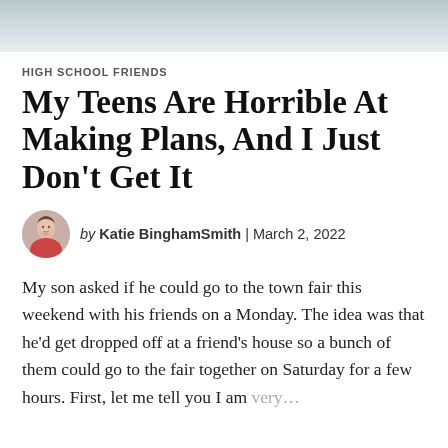[Figure (photo): Blurred background image at top of article, light blue-grey tones]
HIGH SCHOOL FRIENDS
My Teens Are Horrible At Making Plans, And I Just Don't Get It
by Katie BinghamSmith | March 2, 2022
My son asked if he could go to the town fair this weekend with his friends on a Monday. The idea was that he'd get dropped off at a friend's house so a bunch of them could go to the fair together on Saturday for a few hours. First, let me tell you I am very…